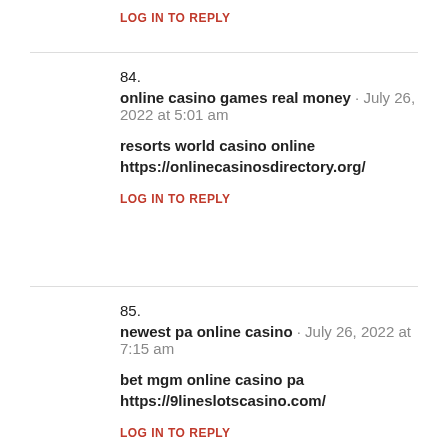LOG IN TO REPLY
84.
online casino games real money · July 26, 2022 at 5:01 am
resorts world casino online
https://onlinecasinosdirectory.org/
LOG IN TO REPLY
85.
newest pa online casino · July 26, 2022 at 7:15 am
bet mgm online casino pa
https://9lineslotscasino.com/
LOG IN TO REPLY